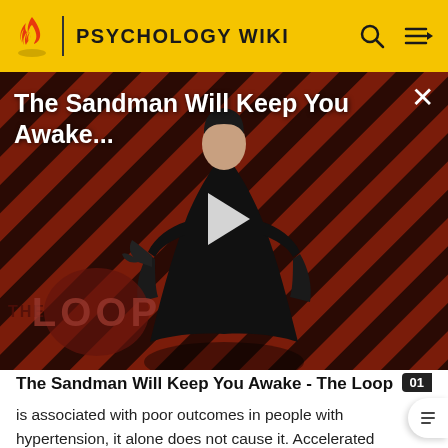PSYCHOLOGY WIKI
[Figure (screenshot): Video thumbnail for 'The Sandman Will Keep You Awake...' showing a dark-cloaked figure against a red and black diagonal striped background, with 'THE LOOP' watermark, a play button, and a close (X) button.]
The Sandman Will Keep You Awake - The Loop
is associated with poor outcomes in people with hypertension, it alone does not cause it. Accelerated hypertension is associated with somnolence, confusion, visual disturbances, and nausea and vomiting